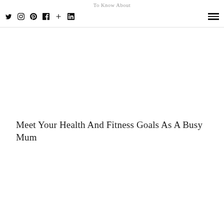To Know About
Meet Your Health And Fitness Goals As A Busy Mum